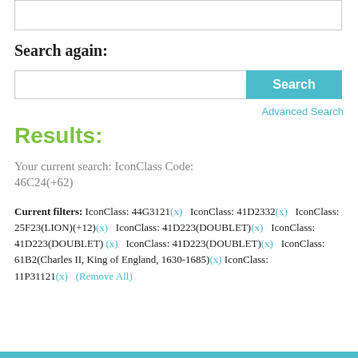[Figure (screenshot): Top white box, partial UI element at top of page]
Search again:
[Figure (screenshot): Search input box with cyan Search button]
Advanced Search
Results:
Your current search: IconClass Code:
46C24(+62)
Current filters: IconClass: 44G3121(x)   IconClass: 41D2332(x)   IconClass: 25F23(LION)(+12)(x)   IconClass: 41D223(DOUBLET)(x)   IconClass: 41D223(DOUBLET)(x)   IconClass: 41D223(DOUBLET)(x)   IconClass: 61B2(Charles II, King of England, 1630-1685)(x)   IconClass: 11P31121(x)   (Remove All)